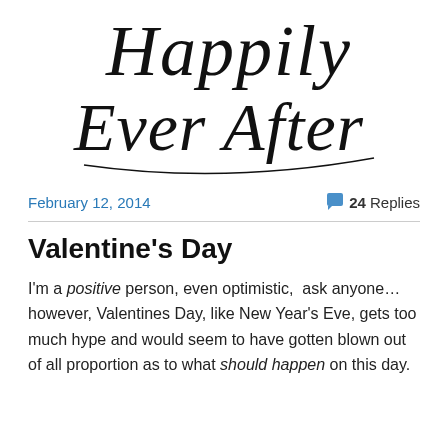[Figure (logo): Cursive/script decorative logo text reading 'Happily Ever After']
February 12, 2014
💬 24 Replies
Valentine's Day
I'm a positive person, even optimistic,  ask anyone… however, Valentines Day, like New Year's Eve, gets too much hype and would seem to have gotten blown out of all proportion as to what should happen on this day.